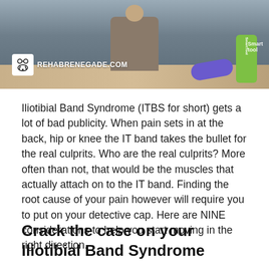[Figure (photo): A person in a clinical or gym setting holding an object, with a foam roller visible in the background. The RehabRenegade.com logo with a bearded face icon is shown in the lower-left of the image. A green SmartTool object is visible on the right side.]
Iliotibial Band Syndrome (ITBS for short) gets a lot of bad publicity. When pain sets in at the back, hip or knee the IT band takes the bullet for the real culprits. Who are the real culprits? More often than not, that would be the muscles that actually attach on to the IT band. Finding the root cause of your pain however will require you to put on your detective cap. Here are NINE considerations to help you start moving in the right direction.
Crack the case on your Iliotibial Band Syndrome